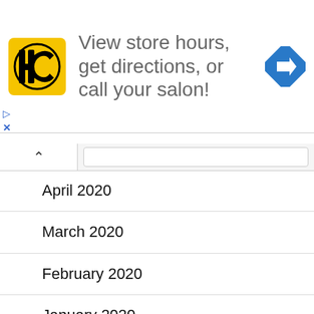[Figure (infographic): Advertisement banner with HC logo (yellow square with black HC text) and text 'View store hours, get directions, or call your salon!' with a blue navigation arrow icon on the right]
April 2020
March 2020
February 2020
January 2020
December 2019
November 2019
October 2019
September 2019